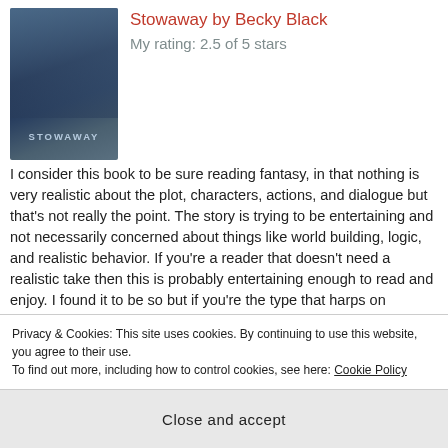[Figure (illustration): Book cover of 'Stowaway' showing two figures in an embrace with a blue/grey misty background and the title STOWAWAY in block letters]
Stowaway by Becky Black
My rating: 2.5 of 5 stars
I consider this book to be sure reading fantasy, in that nothing is very realistic about the plot, characters, actions, and dialogue but that's not really the point. The story is trying to be entertaining and not necessarily concerned about things like world building, logic, and realistic behavior. If you're a reader that doesn't need a realistic take then this is probably entertaining enough to read and enjoy. I found it to be so but if you're the type that harps on realistic actions in books then this one will likely drive you nuts and I'd suggest you avoid it. CONTINUE READING
Privacy & Cookies: This site uses cookies. By continuing to use this website, you agree to their use.
To find out more, including how to control cookies, see here: Cookie Policy
Close and accept